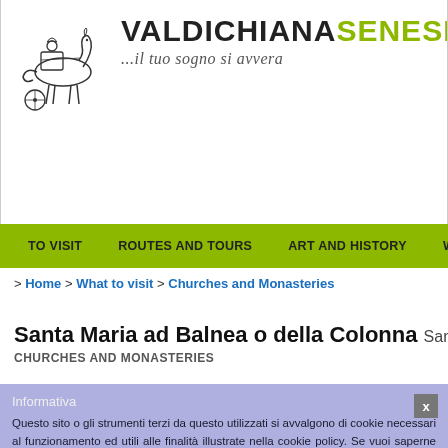[Figure (logo): Sketch illustration of a horse-drawn carriage with rider]
VALDICHIANASENESE.COM ...il tuo sogno si avvera
TO VISIT  ROUTES AND TOURS  ART AND HISTORY  WHERE TO
> Home > What to visit > Churches and Monasteries
Santa Maria ad Balnea o della Colonna San C — CHURCHES AND MONASTERIES
Informativa
Questo sito o gli strumenti terzi da questo utilizzati si avvalgono di cookie necessari al funzionamento ed utili alle finalità illustrate nella cookie policy. Se vuoi saperne di più o negare il consenso a tutti o ad alcuni cookie, consulta la cookie policy. Chiudendo questo banner, scorrendo questa pagina, cliccando su un link o proseguendo la navigazione in altra maniera, acconsenti all'uso dei cookie.